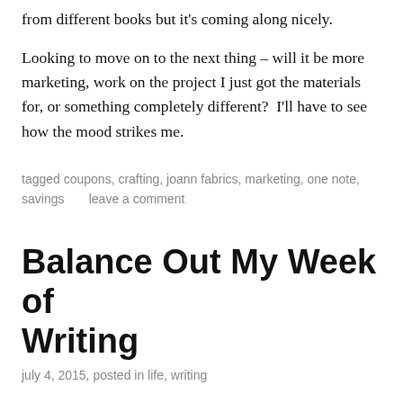from different books but it's coming along nicely.
Looking to move on to the next thing – will it be more marketing, work on the project I just got the materials for, or something completely different?  I'll have to see how the mood strikes me.
tagged coupons, crafting, joann fabrics, marketing, one note, savings       leave a comment
Balance Out My Week of Writing
july 4, 2015, posted in life, writing
As is normal for me, I couldn't jump back into writing having just finished one novel.  I spent my day doing